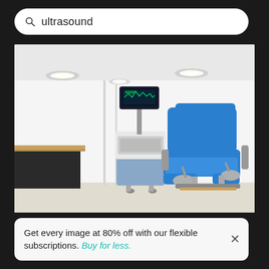ultrasound
[Figure (photo): Medical examination room with an ultrasound machine on a wheeled cart and a blue gynecological/examination chair with stirrups. The room has white walls, recessed ceiling lights, and a black cabinet with wooden countertop on the left.]
Get every image at 80% off with our flexible subscriptions. Buy for less.